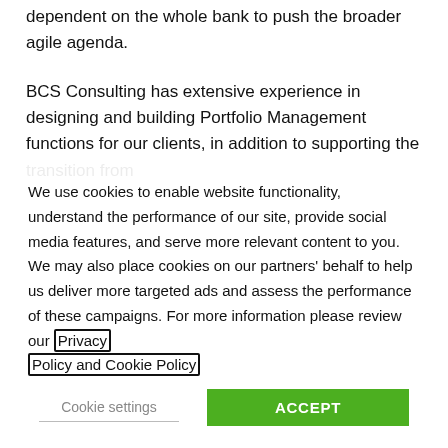dependent on the whole bank to push the broader agile agenda.
BCS Consulting has extensive experience in designing and building Portfolio Management functions for our clients, in addition to supporting the transition from
We use cookies to enable website functionality, understand the performance of our site, provide social media features, and serve more relevant content to you. We may also place cookies on our partners' behalf to help us deliver more targeted ads and assess the performance of these campaigns. For more information please review our Privacy Policy and Cookie Policy
Cookie settings
ACCEPT